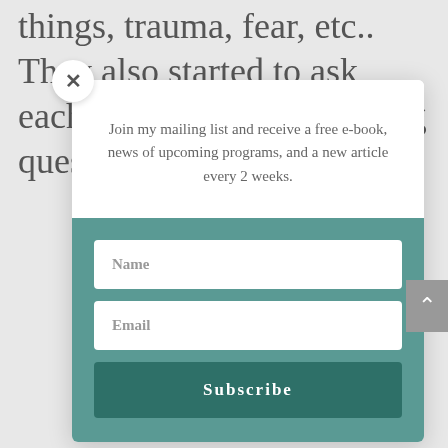things, trauma, fear, etc.. They also started to ask each other more challenging questions, inviting
Join my mailing list and receive a free e-book, news of upcoming programs, and a new article every 2 weeks.
Name
Email
Subscribe